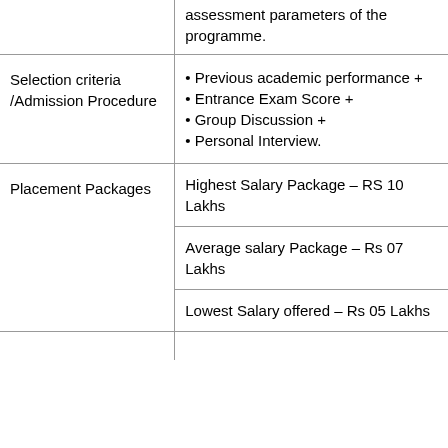|  | assessment parameters of the programme. |
| Selection criteria /Admission Procedure | • Previous academic performance +
• Entrance Exam Score +
• Group Discussion +
• Personal Interview. |
| Placement Packages | Highest Salary Package – RS 10 Lakhs |
|  | Average salary Package – Rs 07 Lakhs |
|  | Lowest Salary offered – Rs 05 Lakhs |
|  |  |